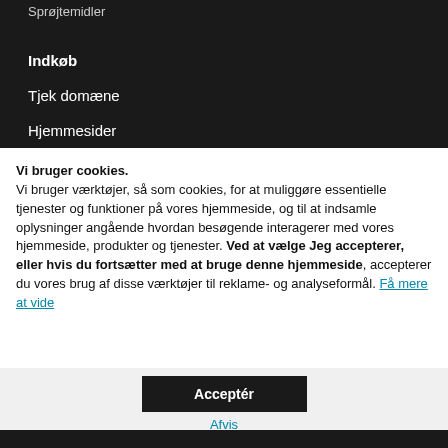Sprøjtemidler
Indkøb
Tjek domæne
Hjemmesider
Vi bruger cookies. Vi bruger værktøjer, så som cookies, for at muliggøre essentielle tjenester og funktioner på vores hjemmeside, og til at indsamle oplysninger angående hvordan besøgende interagerer med vores hjemmeside, produkter og tjenester. Ved at vælge Jeg accepterer, eller hvis du fortsætter med at bruge denne hjemmeside, accepterer du vores brug af disse værktøjer til reklame- og analyseformål. Få mere at vide
Acceptér
Afvis
Administrer indstillinger